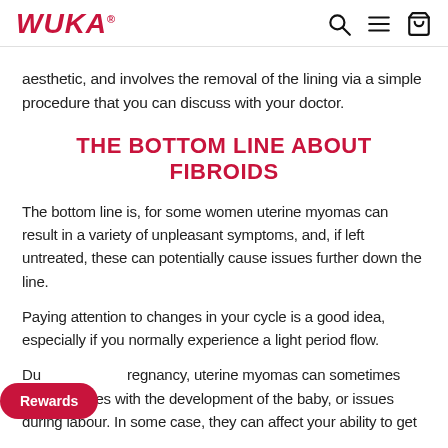WUKA
aesthetic, and involves the removal of the lining via a simple procedure that you can discuss with your doctor.
THE BOTTOM LINE ABOUT FIBROIDS
The bottom line is, for some women uterine myomas can result in a variety of unpleasant symptoms, and, if left untreated, these can potentially cause issues further down the line.
Paying attention to changes in your cycle is a good idea, especially if you normally experience a light period flow.
During pregnancy, uterine myomas can sometimes lead to issues with the development of the baby, or issues during labour. In some case, they can affect your ability to get